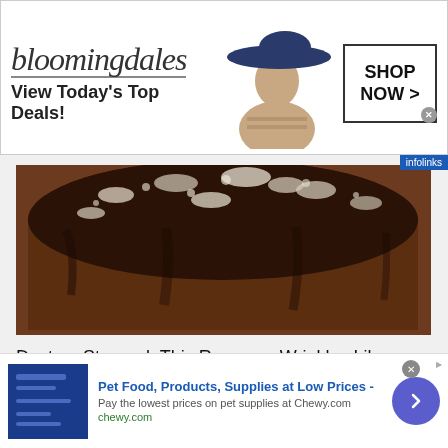[Figure (screenshot): Bloomingdale's banner ad with logo, 'View Today's Top Deals!' tagline, a model wearing a hat, and a 'SHOP NOW >' button. Infolinks label in corner.]
[Figure (photo): Close-up photo of a chocolate cake with crystal/sugar topping]
Doctors Stunned: This Removes Wrinkles Like Crazy (Try Tonight)
Brilliance
[Figure (photo): Young woman against teal background holding a dark credit card in front of her eye. Infolinks badge in lower left.]
[Figure (screenshot): Bottom ad strip: Chewy.com ad showing 'Pet Food, Products, Supplies at Low Prices -' with description 'Pay the lowest prices on pet supplies at Chewy.com' and URL chewy.com. Blue thumbnail on left, purple arrow circle on right. Close X button top right.]